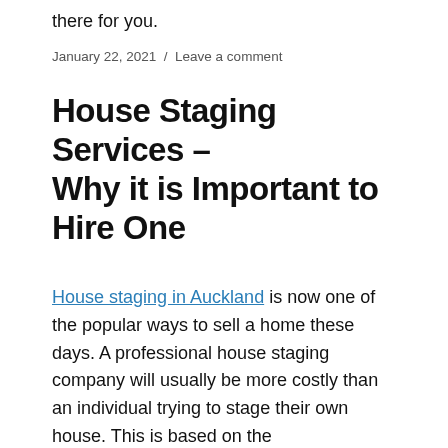there for you.
January 22, 2021 / Leave a comment
House Staging Services – Why it is Important to Hire One
House staging in Auckland is now one of the popular ways to sell a home these days. A professional house staging company will usually be more costly than an individual trying to stage their own house. This is based on the